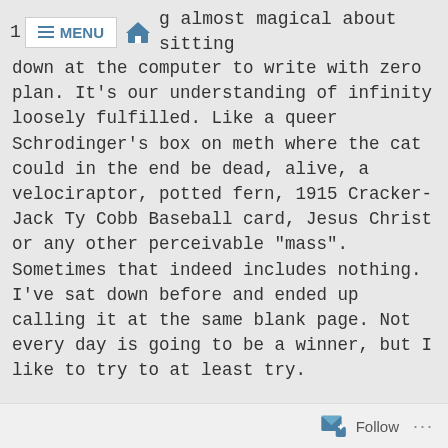MENU [home icon] g almost magical about sitting
down at the computer to write with zero plan. It's our understanding of infinity loosely fulfilled. Like a queer Schrodinger's box on meth where the cat could in the end be dead, alive, a velociraptor, potted fern, 1915 Cracker-Jack Ty Cobb Baseball card, Jesus Christ or any other perceivable "mass". Sometimes that indeed includes nothing. I've sat down before and ended up calling it at the same blank page. Not every day is going to be a winner, but I like to try to at least try.

And here we are. A joke I've been bandying about at work of late goes along these lines. What do you call the server* whose section** is part inside and part outside? Please note, I provided definitions below for
Follow ...